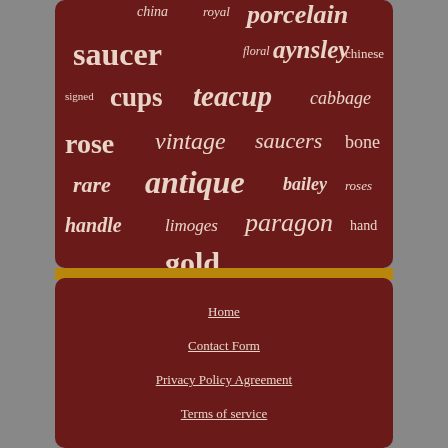[Figure (infographic): Word cloud on dark brown background with pottery/antique related keywords in varying sizes and italic/bold serif fonts. Words include: china, royal, porcelain, saucer, floral, aynsley, chinese, signed, cups, teacup, cabbage, rose, vintage, saucers, bone, rare, antique, bailey, roses, handle, limoges, paragon, hand, gold]
Home
Contact Form
Privacy Policy Agreement
Terms of service